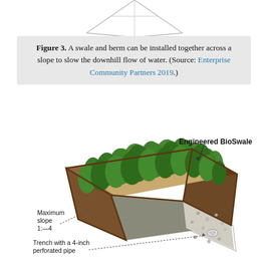[Figure (illustration): Partial view of a diamond/arrow shape at the top of the page, pointing downward, illustrating a swale and berm cross-section schematic (cropped, only the lower portion visible).]
Figure 3. A swale and berm can be installed together across a slope to slow the downhill flow of water. (Source: Enterprise Community Partners 2019.)
[Figure (illustration): 3D illustration of an Engineered BioSwale: a trapezoidal channel filled with tall green grass/vegetation, with brown retaining walls on the sides. Labels point to 'Engineered BioSwale' at top right, 'Maximum slope 1:4' at lower left with a dashed arrow, and 'Trench with a 4-inch perforated pipe' at bottom left with a dashed arrow pointing to a pipe in a gravel-filled trench cross-section.]